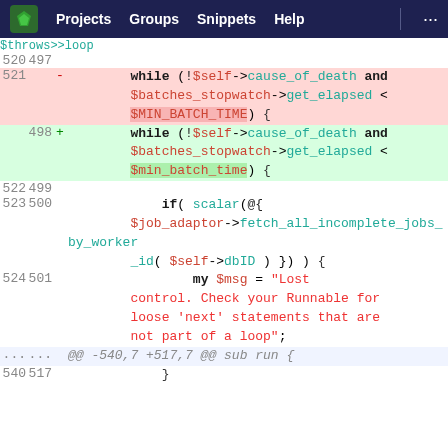Projects  Groups  Snippets  Help
[Figure (screenshot): GitLab code diff view showing changes to a Perl file. Line 521 (old) removed 'while (!$self->cause_of_death and $batches_stopwatch->get_elapsed < $MIN_BATCH_TIME) {' and line 498 (new) added the same with '$min_batch_time' (lowercase). Lines 522-523/499-500 show context with 'if( scalar(@{$job_adaptor->fetch_all_incomplete_jobs_by_worker_id( $self->dbID ) }) ) {'. Line 524/501 shows 'my $msg = "Lost control. Check your Runnable for loose next statements that are not part of a loop";'. Lines 540/517 show closing brace.]